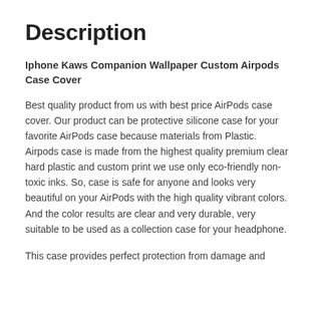Description
Iphone Kaws Companion Wallpaper Custom Airpods Case Cover
Best quality product from us with best price AirPods case cover. Our product can be protective silicone case for your favorite AirPods case because materials from Plastic. Airpods case is made from the highest quality premium clear hard plastic and custom print we use only eco-friendly non-toxic inks. So, case is safe for anyone and looks very beautiful on your AirPods with the high quality vibrant colors. And the color results are clear and very durable, very suitable to be used as a collection case for your headphone.
This case provides perfect protection from damage and